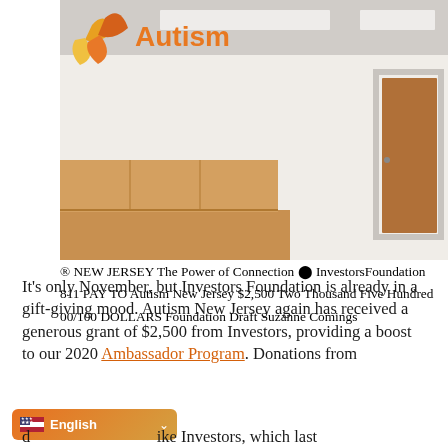[Figure (photo): Three women standing together in the Autism New Jersey office, holding a large ceremonial check from Investors Foundation for $2,500. The wall behind them displays the Autism New Jersey logo and the tagline 'The Power of Connection'. A wooden counter and cabinet are visible in the background.]
It's only November, but Investors Foundation is already in a gift-giving mood. Autism New Jersey again has received a generous grant of $2,500 from Investors, providing a boost to our 2020 Ambassador Program. Donations from donors like Investors, which last